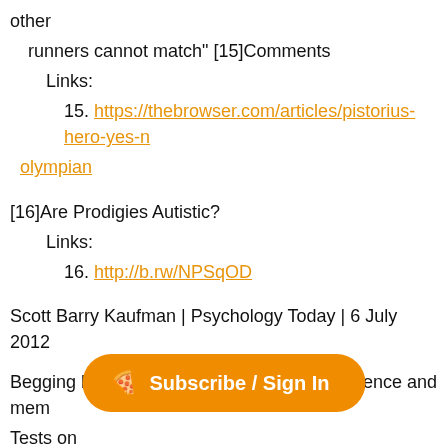other
  runners cannot match" [15]Comments
    Links:
      15. https://thebrowser.com/articles/pistorius-hero-yes-n
olympian
[16]Are Prodigies Autistic?
    Links:
      16. http://b.rw/NPSqOD
Scott Barry Kaufman | Psychology Today | 6 July 2012
Begging headline. This is more about intelligence and mem
Tests on
  nine current child prodigies find IQ range of 108-147—sm
but not
  dazzling. Memory is the st... yes
hints
  of autism [17]Comments